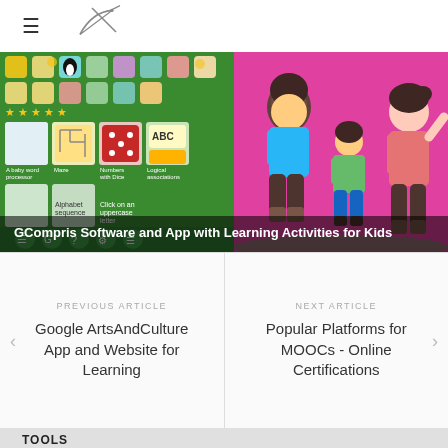≡ [Logo: archer figure]
[Figure (screenshot): GCompris software educational app screenshot showing icon grid of learning activities on green background (left) and cartoon children figures on pink background (right), with overlay title 'GCompris Software and App with Learning Activities for Kids']
PREVIOUS ARTICLE
Google ArtsAndCulture App and Website for Learning
NEXT ARTICLE
Popular Platforms for MOOCs - Online Certifications
TOOLS
🖨 PRINT
✉ EMAIL